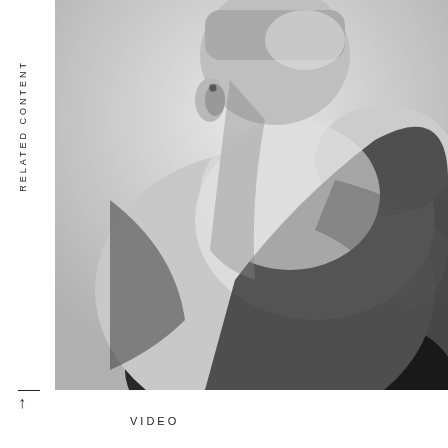RELATED CONTENT
[Figure (photo): Black and white close-up photograph of a person's back, shoulder and the back of their head, shot from behind against a light grey background. The image is high contrast monochrome.]
↑
VIDEO